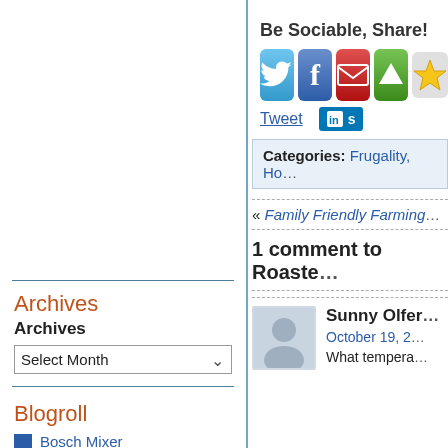Archives
Archives
Select Month
Blogroll
Bosch Mixer
Grain Mills
Marilyn Molls Norwex
Marilyn's Famous Whole Wheat Bread Recipes
Multi-Pure Water Filter
Be Sociable, Share!
[Figure (infographic): Social sharing icons: Twitter (blue bird), Facebook (blue f), Email (red envelope), Digg (green arrow), Star (yellow star bookmark)]
Tweet
s (LinkedIn share button)
Categories: Frugality, Ho...
« Family Friendly Farming...
1 comment to Roaste...
Sunny Olfer
October 19, 2...
What tempera...